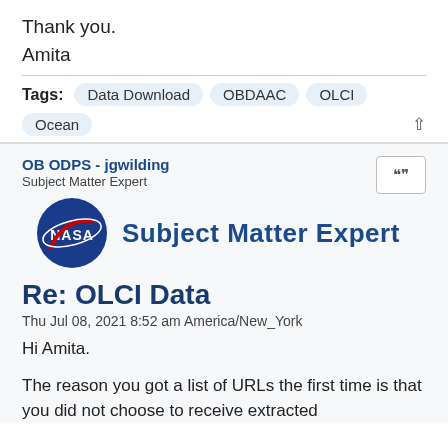Thank you.
Amita
Tags: Data Download  OBDAAC  OLCI  Ocean
OB ODPS - jgwilding
Subject Matter Expert
[Figure (logo): NASA logo circle with 'Subject Matter Expert' text in blue next to it]
Re: OLCI Data
Thu Jul 08, 2021 8:52 am America/New_York
Hi Amita.

The reason you got a list of URLs the first time is that you did not choose to receive extracted data, and you need to select the OLCI data...